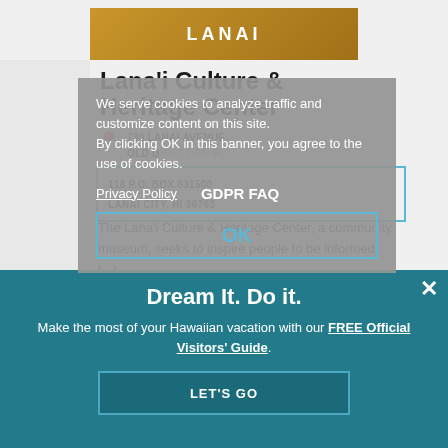[Figure (screenshot): Screenshot of a travel website showing Lana'i Culture & Heritage Center page with an overlaid GDPR cookie consent banner and a 'Dream It. Do it.' promotional overlay at the bottom.]
LANAI
Lana'i Culture & Heritage Center
730 LANAI AVENUE, OLD DOLE ADMINISTRATION BUILDING 118 P.O. BOX 631500 LANAI CITY, HI 96763
The Lana'i Culture & Heritage Center, a community museum, seeks to inspire people to be informed, [...]
Learn More ›
We serve cookies to analyze traffic and customize content on this site. By clicking OK in this banner, you agree to the use of cookies.
Privacy Policy      GDPR FAQ
OK
WEBSITE      COVID-19 UPDATES
Dream It. Do it.
Make the most of your Hawaiian vacation with our FREE Official Visitors' Guide.
LET'S GO